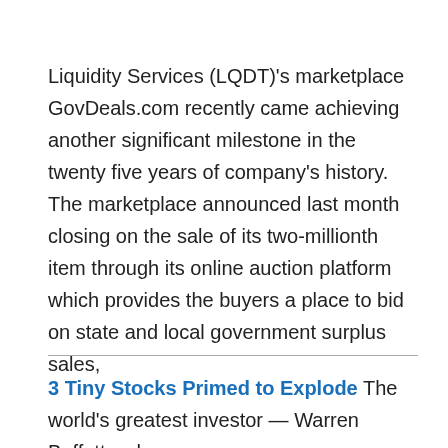Liquidity Services (LQDT)'s marketplace GovDeals.com recently came achieving another significant milestone in the twenty five years of company's history. The marketplace announced last month closing on the sale of its two-millionth item through its online auction platform which provides the buyers a place to bid on state and local government surplus sales,
3 Tiny Stocks Primed to Explode The world's greatest investor — Warren Buffett — has a